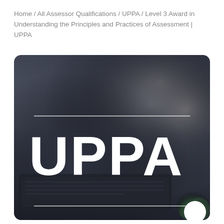Home / All Assessor Qualifications / UPPA / Level 3 Award in Understanding the Principles and Practices of Assessment | UPPA
[Figure (photo): Hero banner image with dark overlay showing a person's hands over a desk with a laptop and a green plant. Large white text 'UPPA' is displayed in the center-lower area, flanked by two horizontal white lines. A white circle appears in the bottom-right corner.]